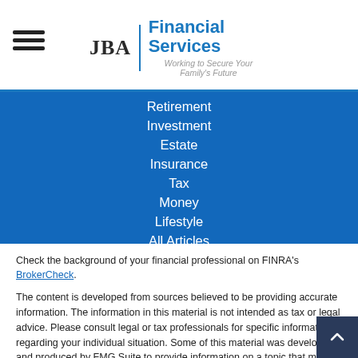JBA | Financial Services — Working to Secure Your Family's Future
Retirement
Investment
Estate
Insurance
Tax
Money
Lifestyle
All Articles
All Videos
All Calculators
All Presentations
Check the background of your financial professional on FINRA's BrokerCheck.
The content is developed from sources believed to be providing accurate information. The information in this material is not intended as tax or legal advice. Please consult legal or tax professionals for specific information regarding your individual situation. Some of this material was developed and produced by FMG Suite to provide information on a topic that may be of interest. FMG Suite is not affiliated with the named representative, broker - dealer, state - or SEC - registered investment advisory firm. The opinions expressed and material provided are for